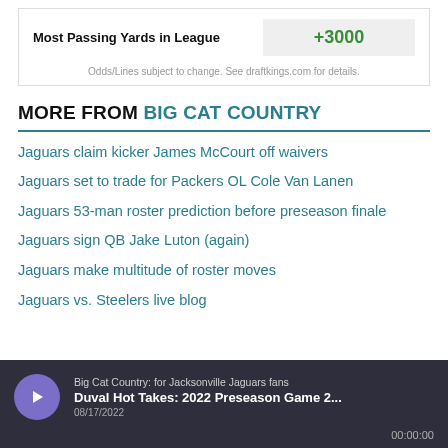| Prop | Odds |
| --- | --- |
| Most Passing Yards in League | +3000 |
Odds/Lines subject to change. See draftkings.com for details.
MORE FROM BIG CAT COUNTRY
Jaguars claim kicker James McCourt off waivers
Jaguars set to trade for Packers OL Cole Van Lanen
Jaguars 53-man roster prediction before preseason finale
Jaguars sign QB Jake Luton (again)
Jaguars make multitude of roster moves
Jaguars vs. Steelers live blog
[Figure (other): Podcast player bar: Big Cat Country: for Jacksonville Jaguars fans — Duval Hot Takes: 2022 Preseason Game 2... — 08/17/2022 — 00:00:00]